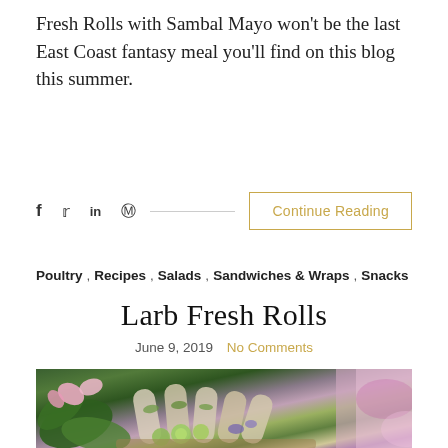Fresh Rolls with Sambal Mayo won't be the last East Coast fantasy meal you'll find on this blog this summer.
f  y  in  @  [social share bar]  Continue Reading
Poultry , Recipes , Salads , Sandwiches & Wraps , Snacks
Larb Fresh Rolls
June 9, 2019  No Comments
[Figure (photo): Close-up photo of Larb Fresh Rolls arranged in a basket with fresh flowers, cucumber slices, herbs and colorful garnishes on a decorative background]